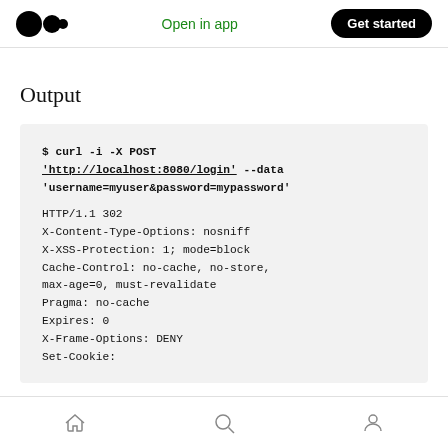Medium logo | Open in app | Get started
Output
$ curl -i -X POST 'http://localhost:8080/login' --data 'username=myuser&password=mypassword'

HTTP/1.1 302
X-Content-Type-Options: nosniff
X-XSS-Protection: 1; mode=block
Cache-Control: no-cache, no-store,
max-age=0, must-revalidate
Pragma: no-cache
Expires: 0
X-Frame-Options: DENY
Set-Cookie:
Home | Search | Profile